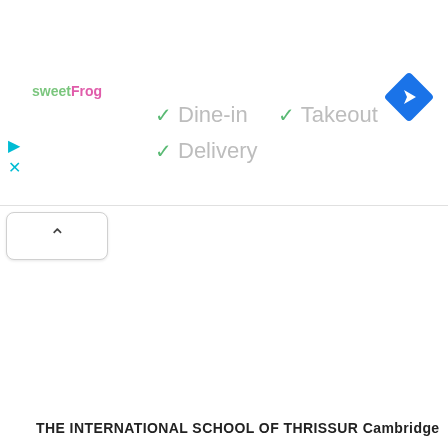[Figure (screenshot): sweetFrog logo in top left area of a Google Maps-style UI panel]
✓ Dine-in  ✓ Takeout
✓ Delivery
[Figure (logo): Google Maps navigation blue diamond direction icon in top right]
[Figure (other): Collapse/chevron up button]
THE INTERNATIONAL SCHOOL OF THRISSUR Cambridge